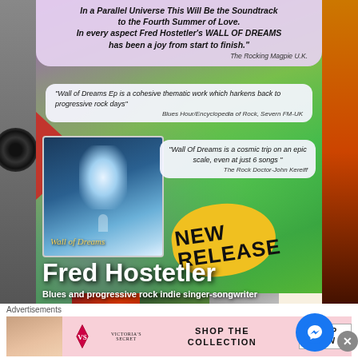[Figure (illustration): Music promotional poster for Fred Hostetler's 'Wall of Dreams' EP, featuring colorful psychedelic background, album art, reviews/quotes, NEW RELEASE badge, artist name and description, thumbnail images strip, and an advertisement banner for Victoria's Secret at the bottom.]
In a Parallel Universe This Will Be the Soundtrack to the Fourth Summer of Love. In every aspect Fred Hostetler's WALL OF DREAMS has been a joy from start to finish."
The Rocking Magpie U.K.
"Wall of Dreams Ep is a cohesive thematic work which harkens back to progressive rock days"
Blues Hour/Encyclopedia of Rock, Severn FM-UK
"Wall Of Dreams is a cosmic trip on an epic scale, even at just 6 songs"
The Rock Doctor-John Kereiff
NEW RELEASE
Fred Hostetler
Blues and progressive rock indie singer-songwriter
Winner 2021 'Industry Award'
Advertisements
[Figure (illustration): Victoria's Secret advertisement banner with model photo, VS logo, 'SHOP THE COLLECTION' text, and 'SHOP NOW' button]